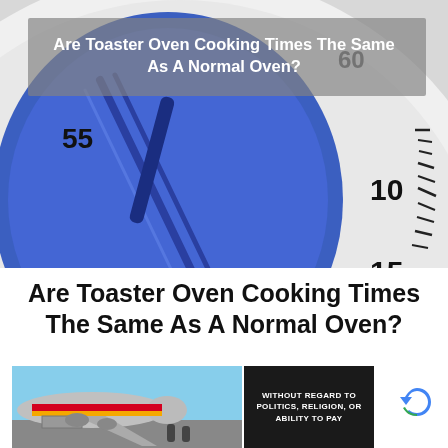[Figure (photo): Close-up photo of a blue kitchen timer dial with white circular face showing numbers 55, 60, 5, 10, 15 with tick marks. Title text overlaid on semi-transparent gray banner reads: Are Toaster Oven Cooking Times The Same As A Normal Oven?]
Are Toaster Oven Cooking Times The Same As A Normal Oven?
[Figure (photo): Advertisement banner showing a Southwest Airlines cargo plane being loaded at an airport, with a dark text box reading WITHOUT REGARD TO POLITICS, RELIGION, OR ABILITY TO PAY]